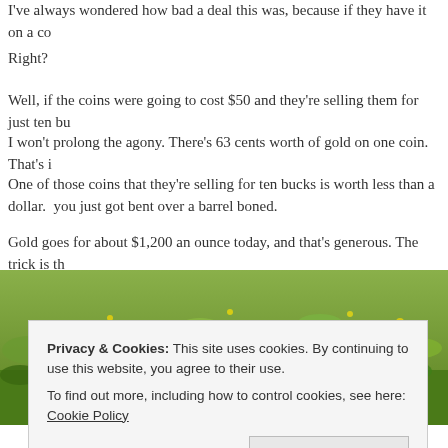I've always wondered how bad a deal this was,  because if they have it on a co
Right?
Well, if the coins were going to cost $50 and they're selling them for just ten bu
I won't prolong the agony.  There's 63 cents worth of gold on one coin.  That's i
One of those coins that they're selling for ten bucks is worth less than a dollar.  you just got bent over a barrel boned.
Gold goes for about $1,200 an ounce today, and that's generous.  The trick is th
Oh, and if you just bought a hundred of those for a thousand bucks and I just sl
Next time buy a carbon fiber bike. They depreciate like a car and cost a whole l
[Figure (photo): Photograph of green grass with yellow wildflowers, partial view]
Privacy & Cookies: This site uses cookies. By continuing to use this website, you agree to their use.
To find out more, including how to control cookies, see here: Cookie Policy
Close and accept